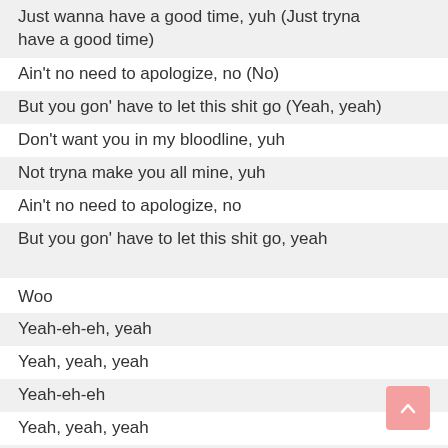Just wanna have a good time, yuh (Just tryna have a good time)
Ain't no need to apologize, no (No)
But you gon' have to let this shit go (Yeah, yeah)
Don't want you in my bloodline, yuh
Not tryna make you all mine, yuh
Ain't no need to apologize, no
But you gon' have to let this shit go, yeah
Woo
Yeah-eh-eh, yeah
Yeah, yeah, yeah
Yeah-eh-eh
Yeah, yeah, yeah
Yeah, yeah yeah